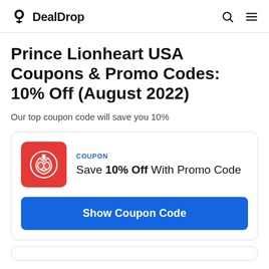DealDrop
Prince Lionheart USA Coupons & Promo Codes: 10% Off (August 2022)
Our top coupon code will save you 10%
COUPON
Save 10% Off With Promo Code
Show Coupon Code